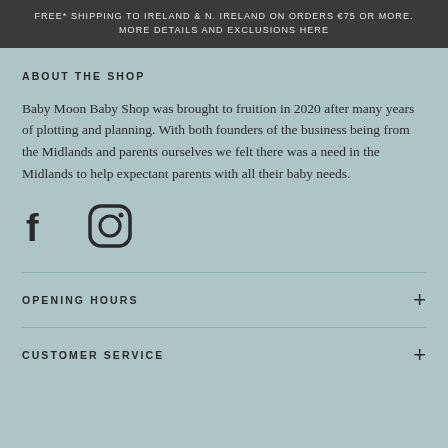FREE* SHIPPING TO IRELAND & N. IRELAND ON ORDERS €75 OR MORE. MORE DETAILS AND EXCLUSIONS HERE
ABOUT THE SHOP
Baby Moon Baby Shop was brought to fruition in 2020 after many years of plotting and planning. With both founders of the business being from the Midlands and parents ourselves we felt there was a need in the Midlands to help expectant parents with all their baby needs.
[Figure (illustration): Facebook and Instagram social media icons]
OPENING HOURS
CUSTOMER SERVICE